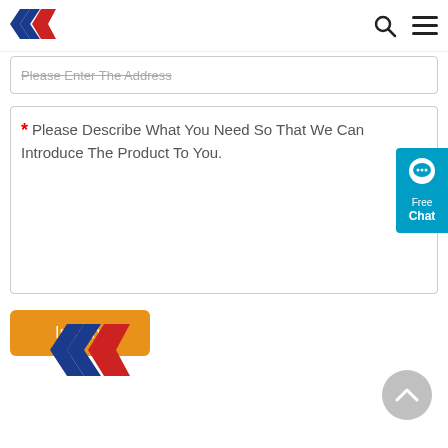[Figure (logo): ANA logo with blue and red chevron/arrow shapes in header]
Please Enter The Address
* Please Describe What You Need So That We Can Introduce The Product To You.
[Figure (illustration): Free Chat widget button with chat bubble icon]
Inquiry
[Figure (logo): ANA logo in footer]
[Figure (illustration): Scroll to top circular button with upward caret]